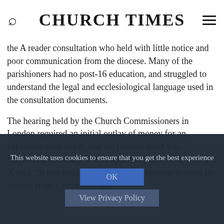CHURCH TIMES
the A reader consultation who held with little notice and poor communication from the diocese. Many of the parishioners had no post-16 education, and struggled to understand the legal and ecclesiological language used in the consultation documents.

The hearing held by the Church Commissioners in London required an initial outlay of money for an expensive train ticket, and the process itself was “unningecessarily scary — like appearing at the Old Bailey”, X said. “It just feels like it is not an accessible process for anyone from a working-class
This website uses cookies to ensure that you get the best experience
OK
View Privacy Policy